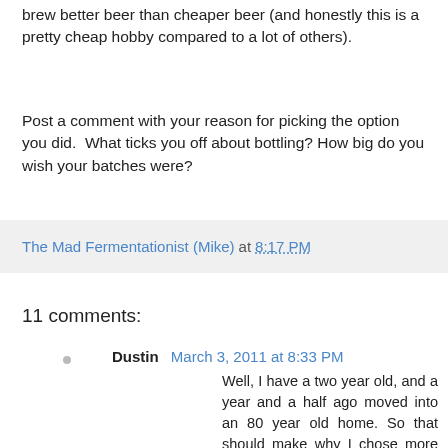brew better beer than cheaper beer (and honestly this is a pretty cheap hobby compared to a lot of others).
Post a comment with your reason for picking the option you did.  What ticks you off about bottling? How big do you wish your batches were?
The Mad Fermentationist (Mike) at 8:17 PM
11 comments:
Dustin March 3, 2011 at 8:33 PM
Well, I have a two year old, and a year and a half ago moved into an 80 year old home. So that should make why I chose more time pretty easy to deduce.
I'd be surprised if any of the 8% that chose to skip bottling/kegging aren't bottlers. Going to kegging is the best decision we've made since starting homebrewing.